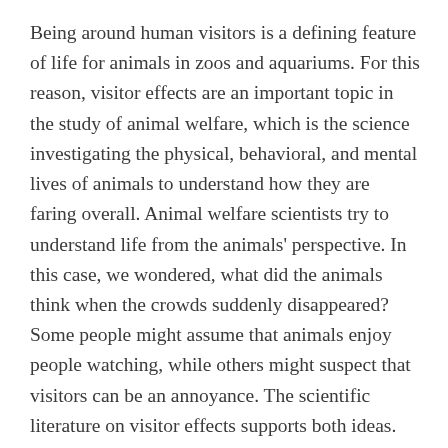Being around human visitors is a defining feature of life for animals in zoos and aquariums. For this reason, visitor effects are an important topic in the study of animal welfare, which is the science investigating the physical, behavioral, and mental lives of animals to understand how they are faring overall. Animal welfare scientists try to understand life from the animals' perspective. In this case, we wondered, what did the animals think when the crowds suddenly disappeared? Some people might assume that animals enjoy people watching, while others might suspect that visitors can be an annoyance. The scientific literature on visitor effects supports both ideas. Studies show that visitors can have a positive, neutral, or sometimes negative effect on animals living in zoos and aquariums. How